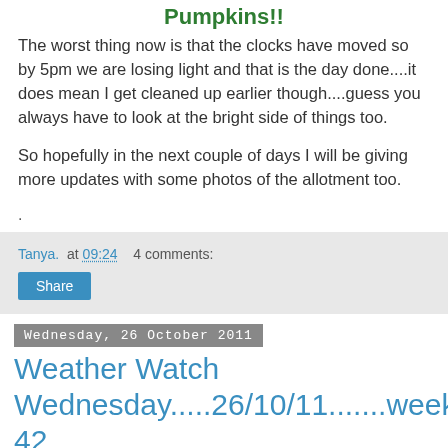Pumpkins!!
The worst thing now is that the clocks have moved so by 5pm we are losing light and that is the day done....it does mean I get cleaned up earlier though....guess you always have to look at the bright side of things too.
So hopefully in the next couple of days I will be giving more updates with some photos of the allotment too.
.
Tanya.  at 09:24    4 comments:
Share
Wednesday, 26 October 2011
Weather Watch Wednesday.....26/10/11.......week 42
Well I don't have any allotment news for you but I thought it